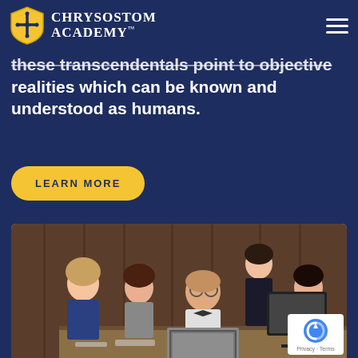[Figure (logo): Chrysostom Academy logo with gold shield bearing a cross and the school name in white serif text]
these transcendentals point to objective realities which can be known and understood as humans.
LEARN MORE
[Figure (photo): Students and a teacher gathered around a laptop computer in a wood-paneled room, looking engaged and smiling]